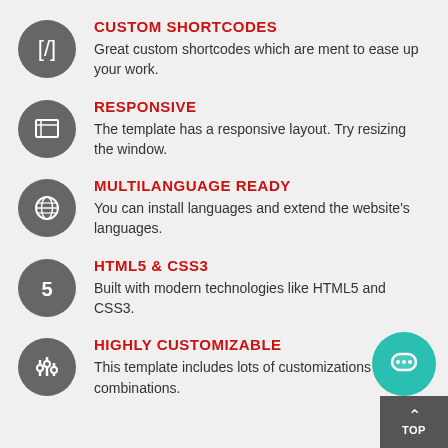CUSTOM SHORTCODES - Great custom shortcodes which are ment to ease up your work.
RESPONSIVE - The template has a responsive layout. Try resizing the window.
MULTILANGUAGE READY - You can install languages and extend the website's languages.
HTML5 & CSS3 - Built with modern technologies like HTML5 and CSS3.
HIGHLY CUSTOMIZABLE - This template includes lots of customizations and combinations.